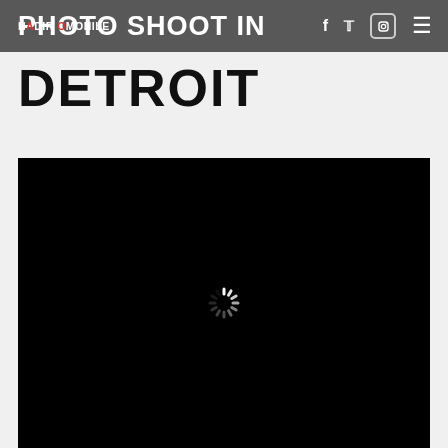NADIR OMOHILE PHOTO SHOOT IN
DETROIT
[Figure (photo): Black photo area with spinning loading indicator in the center, showing a partially loaded image on a dark/black background]